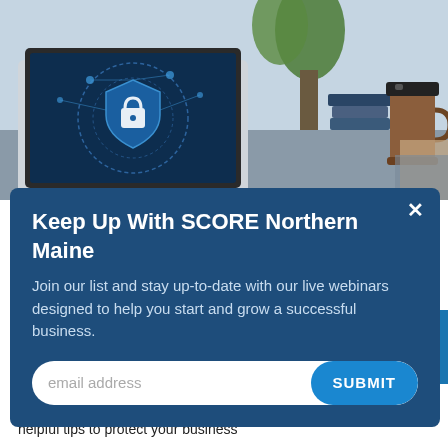[Figure (screenshot): Screenshot of a webpage showing a laptop with a cybersecurity lock shield on screen, surrounded by plants, books, and a coffee cup on a desk]
Keep Up With SCORE Northern Maine
Join our list and stay up-to-date with our live webinars designed to help you start and grow a successful business.
email address [SUBMIT button]
★★★★☆
Article Language: English
Learn the top cybersecurity threats to small businesses and helpful tips to protect your business